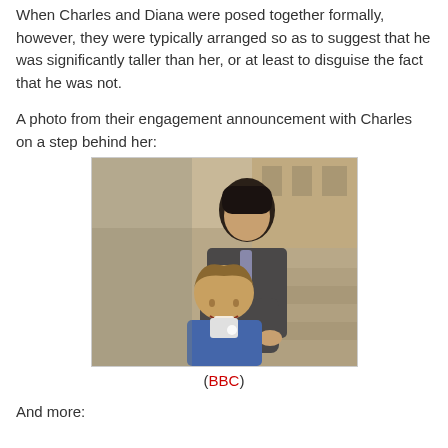When Charles and Diana were posed together formally, however, they were typically arranged so as to suggest that he was significantly taller than her, or at least to disguise the fact that he was not.
A photo from their engagement announcement with Charles on a step behind her:
[Figure (photo): Black and white photo of Prince Charles and Princess Diana at their engagement announcement. Charles stands behind Diana on a step, making him appear taller. Diana is smiling and wearing a blue outfit. They are outdoors with stone steps and a building in the background.]
(BBC)
And more: